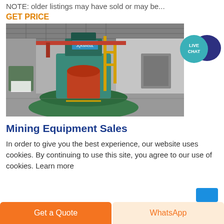NOTE: older listings may have sold or may be...
GET PRICE
[Figure (photo): Industrial mining equipment (large vertical lathe or grinding machine) inside a factory/warehouse. The machine is green/teal colored with a red/copper workpiece. Yellow structural supports visible. Large industrial building interior.]
[Figure (infographic): Live Chat speech bubble icon — teal circle with 'LIVE CHAT' text and a dark blue chat bubble shape behind it.]
Mining Equipment Sales
In order to give you the best experience, our website uses cookies. By continuing to use this site, you agree to our use of cookies. Learn more
Get a Quote
WhatsApp